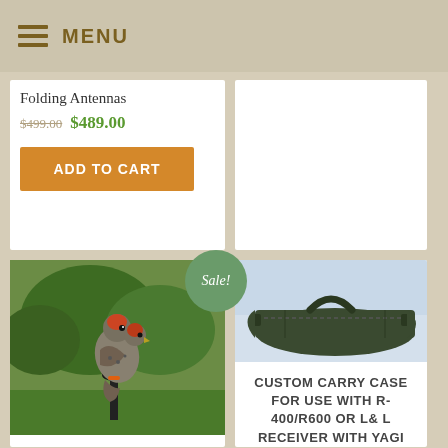MENU
Folding Antennas
$499.00 $489.00
ADD TO CART
[Figure (photo): Falcon bird perched on a stand in a garden, with orange leg straps, green plants in background. 'Sale!' badge overlaid.]
[Figure (photo): Olive/dark green custom carry case bag with handles, on a blue/white background.]
CUSTOM CARRY CASE FOR USE WITH R-400/R600 OR L& L RECEIVER WITH YAGI